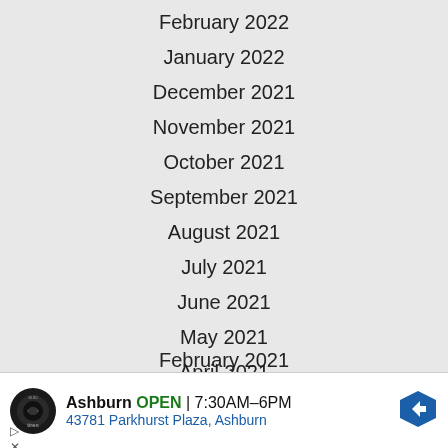February 2022
January 2022
December 2021
November 2021
October 2021
September 2021
August 2021
July 2021
June 2021
May 2021
April 2021
March 2021
February 2021
[Figure (screenshot): Advertisement banner for Tires Auto in Ashburn showing OPEN status, hours 7:30AM-6PM, address 43781 Parkhurst Plaza Ashburn, with navigation arrow icon]